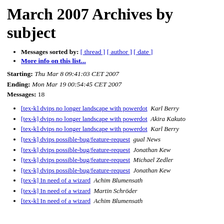March 2007 Archives by subject
Messages sorted by: [ thread ] [ author ] [ date ]
More info on this list...
Starting: Thu Mar 8 09:41:03 CET 2007
Ending: Mon Mar 19 00:54:45 CET 2007
Messages: 18
[tex-k] dvips no longer landscape with powerdot   Karl Berry
[tex-k] dvips no longer landscape with powerdot   Akira Kakuto
[tex-k] dvips no longer landscape with powerdot   Karl Berry
[tex-k] dvips possible-bug/feature-request   gual News
[tex-k] dvips possible-bug/feature-request   Jonathan Kew
[tex-k] dvips possible-bug/feature-request   Michael Zedler
[tex-k] dvips possible-bug/feature-request   Jonathan Kew
[tex-k] In need of a wizard   Achim Blumensath
[tex-k] In need of a wizard   Martin Schröder
[tex-k] In need of a wizard   Achim Blumensath